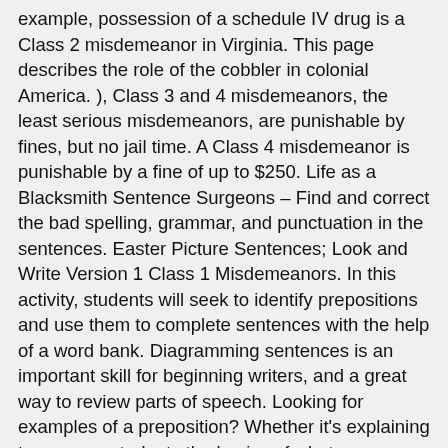example, possession of a schedule IV drug is a Class 2 misdemeanor in Virginia. This page describes the role of the cobbler in colonial America. ), Class 3 and 4 misdemeanors, the least serious misdemeanors, are punishable by fines, but no jail time. A Class 4 misdemeanor is punishable by a fine of up to $250. Life as a Blacksmith Sentence Surgeons – Find and correct the bad spelling, grammar, and punctuation in the sentences. Easter Picture Sentences; Look and Write Version 1 Class 1 Misdemeanors. In this activity, students will seek to identify prepositions and use them to complete sentences with the help of a word bank. Diagramming sentences is an important skill for beginning writers, and a great way to review parts of speech. Looking for examples of a preposition? Whether it's explaining to younger students the basics of what a preposition is or helping older students to effectively use them in writing, our preposition pages offer something for all elementary school students. … For more information on felonies in Virginia, see Virginia Felony Crimes by Class and Sentences. (Va. Code §§ 18.2-8, 18.2-9 (2019).). Charlotte's Web. In a paragraph about how to make a peanut butter and jelly sandwich: Use this resource with your students to practice choosing the best prepositional phrase to